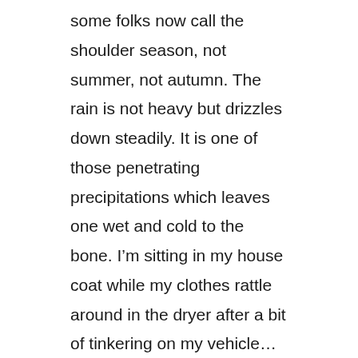some folks now call the shoulder season, not summer, not autumn. The rain is not heavy but drizzles down steadily. It is one of those penetrating precipitations which leaves one wet and cold to the bone. I'm sitting in my house coat while my clothes rattle around in the dryer after a bit of tinkering on my vehicle…under the shelter of a roof! Jack and I went for our walk, he is content for the moment to lay by the door, snoozing and watching for the old mangy grey squirrel which pelts along the top of the fence with yet another hazelnut in its mouth. A fence post, which it often floats over in a single high bound, is also a perch for it to sit, flagging its tail. I am